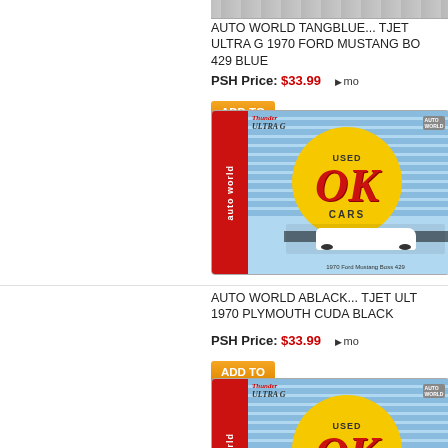[Figure (photo): Partial top image of product packaging, cropped at top of page]
AUTO WORLD TANGBLUE... TJET ULTRA G 1970 FORD MUSTANG BO 429 BLUE
PSH Price: $33.99
[Figure (photo): Auto World Thunder Jet Ultra G OK Used Cars electric slot car packaging showing 1970 Ford Mustang Boss 429 white car]
AUTO WORLD ABLACK... TJET ULTRA G 1970 PLYMOUTH CUDA BLACK
PSH Price: $33.99
[Figure (photo): Auto World Thunder Jet Ultra G OK Used Cars electric slot car packaging showing 1970 Plymouth Cuda black car]